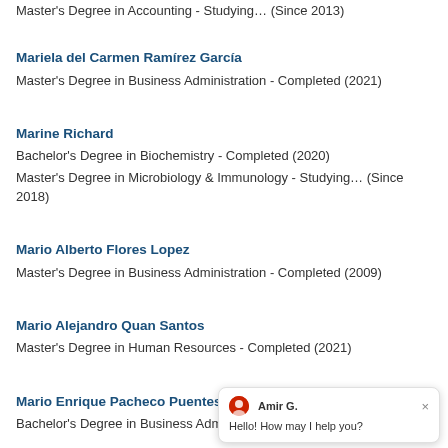Master's Degree in Accounting - Studying… (Since 2013)
Mariela del Carmen Ramírez García
Master's Degree in Business Administration - Completed (2021)
Marine Richard
Bachelor's Degree in Biochemistry - Completed (2020)
Master's Degree in Microbiology & Immunology - Studying… (Since 2018)
Mario Alberto Flores Lopez
Master's Degree in Business Administration - Completed (2009)
Mario Alejandro Quan Santos
Master's Degree in Human Resources - Completed (2021)
Mario Enrique Pacheco Puentes
Bachelor's Degree in Business Administration - Completed (2021)